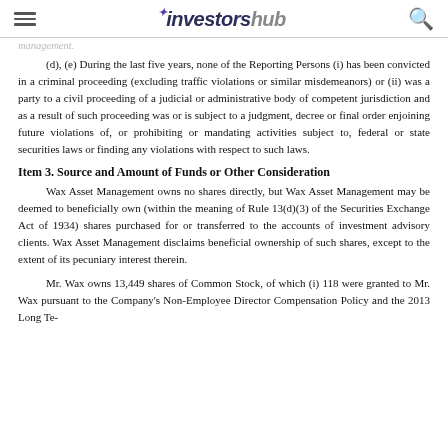investorshub
management.
(d), (e) During the last five years, none of the Reporting Persons (i) has been convicted in a criminal proceeding (excluding traffic violations or similar misdemeanors) or (ii) was a party to a civil proceeding of a judicial or administrative body of competent jurisdiction and as a result of such proceeding was or is subject to a judgment, decree or final order enjoining future violations of, or prohibiting or mandating activities subject to, federal or state securities laws or finding any violations with respect to such laws.
Item 3. Source and Amount of Funds or Other Consideration
Wax Asset Management owns no shares directly, but Wax Asset Management may be deemed to beneficially own (within the meaning of Rule 13(d)(3) of the Securities Exchange Act of 1934) shares purchased for or transferred to the accounts of investment advisory clients. Wax Asset Management disclaims beneficial ownership of such shares, except to the extent of its pecuniary interest therein.
Mr. Wax owns 13,449 shares of Common Stock, of which (i) 118 were granted to Mr. Wax pursuant to the Company's Non-Employee Director Compensation Policy and the 2013 Long Term...